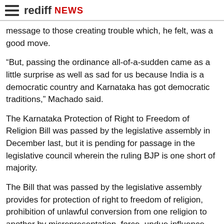rediff NEWS
message to those creating trouble which, he felt, was a good move.
“But, passing the ordinance all-of-a-sudden came as a little surprise as well as sad for us because India is a democratic country and Karnataka has got democratic traditions,” Machado said.
The Karnataka Protection of Right to Freedom of Religion Bill was passed by the legislative assembly in December last, but it is pending for passage in the legislative council wherein the ruling BJP is one short of majority.
The Bill that was passed by the legislative assembly provides for protection of right to freedom of religion, prohibition of unlawful conversion from one religion to another by misrepresentation, force, undue influence, coercion, allurement or by any fraudulent means.
It moots imprisonment from three to five years with a fine of Rs 25,000, while for violation of provisions with respect to minors, women, SC/ST, the offenders will face imprisonment from three to 10 years and a fine of not